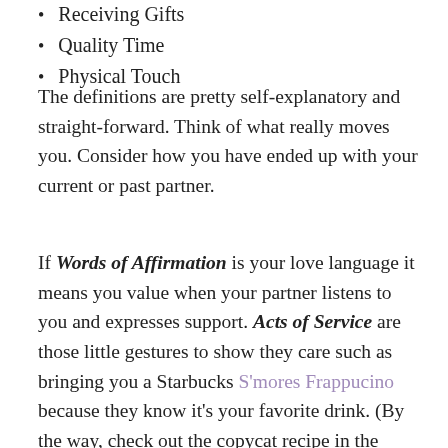Receiving Gifts
Quality Time
Physical Touch
The definitions are pretty self-explanatory and straight-forward. Think of what really moves you. Consider how you have ended up with your current or past partner.
If Words of Affirmation is your love language it means you value when your partner listens to you and expresses support. Acts of Service are those little gestures to show they care such as bringing you a Starbucks S'mores Frappucino because they know it's your favorite drink. (By the way, check out the copycat recipe in the link.)